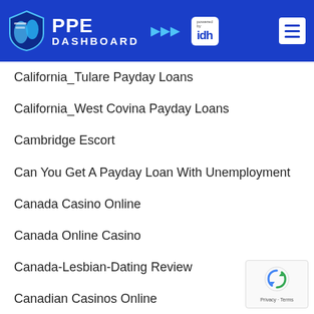PPE DASHBOARD powered by idh
California_Tulare Payday Loans
California_West Covina Payday Loans
Cambridge Escort
Can You Get A Payday Loan With Unemployment
Canada Casino Online
Canada Online Casino
Canada-Lesbian-Dating Review
Canadian Casinos Online
Canadian Online Casino